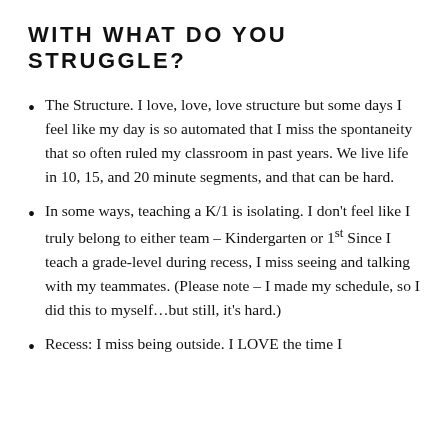WITH WHAT DO YOU STRUGGLE?
The Structure. I love, love, love structure but some days I feel like my day is so automated that I miss the spontaneity that so often ruled my classroom in past years. We live life in 10, 15, and 20 minute segments, and that can be hard.
In some ways, teaching a K/1 is isolating. I don't feel like I truly belong to either team – Kindergarten or 1st Since I teach a grade-level during recess, I miss seeing and talking with my teammates. (Please note – I made my schedule, so I did this to myself…but still, it's hard.)
Recess: I miss being outside. I LOVE the time I